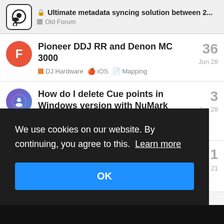🔒 Ultimate metadata syncing solution between 2... | Old Forum
Pioneer DDJ RR and Denon MC 3000 | 36 | DJ Hardware · iOS · Mapping | Jun 28
How do I delete Cue points in Windows version with NuMark Party Mix? | 3 | Questions · Windows | Jun 28
1 | Jul 21
We use cookies on our website. By continuing, you agree to this. Learn more
OK